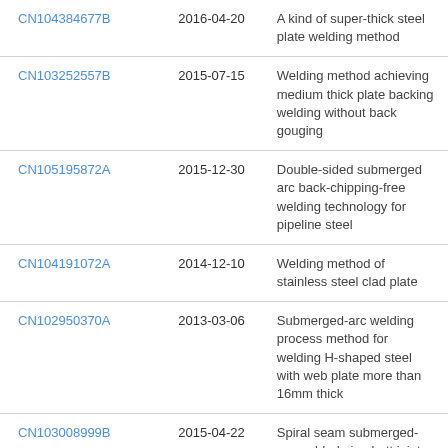| CN104384677B | 2016-04-20 | A kind of super-thick steel plate welding method |
| CN103252557B | 2015-07-15 | Welding method achieving medium thick plate backing welding without back gouging |
| CN105195872A | 2015-12-30 | Double-sided submerged arc back-chipping-free welding technology for pipeline steel |
| CN104191072A | 2014-12-10 | Welding method of stainless steel clad plate |
| CN102950370A | 2013-03-06 | Submerged-arc welding process method for welding H-shaped steel with web plate more than 16mm thick |
| CN103008999B | 2015-04-22 | Spiral seam submerged-arc welded pipe butt joint process |
| CN102699493B | 2015-05-13 | Carbon dioxide (CO2) gas shielded welding vertical... |